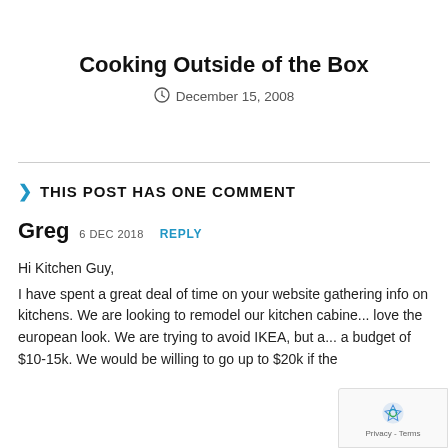Cooking Outside of the Box
December 15, 2008
THIS POST HAS ONE COMMENT
Greg  6 DEC 2018  REPLY
Hi Kitchen Guy,
I have spent a great deal of time on your website gathering info on kitchens. We are looking to remodel our kitchen cabine... love the european look. We are trying to avoid IKEA, but a... a budget of $10-15k. We would be willing to go up to $20k if the...